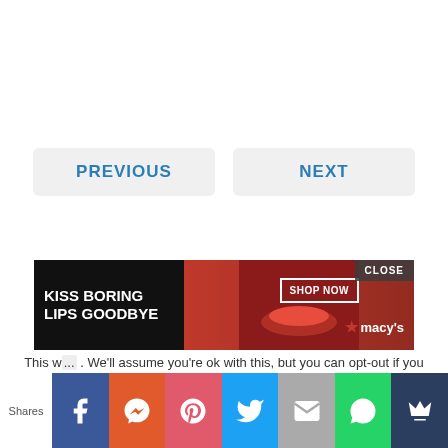PREVIOUS
NEXT
[Figure (screenshot): Macy's advertisement banner: 'KISS BORING LIPS GOODBYE' with SHOP NOW button and Macy's star logo, overlaid with a CLOSE button]
This w... We'll assume you're ok with this, but you can opt-out if you wish.
Accept
Reject
Read More
Shares
[Figure (infographic): Social share bar with Facebook, Messenger, Pinterest, Twitter, Mail, WhatsApp, and crown icons]